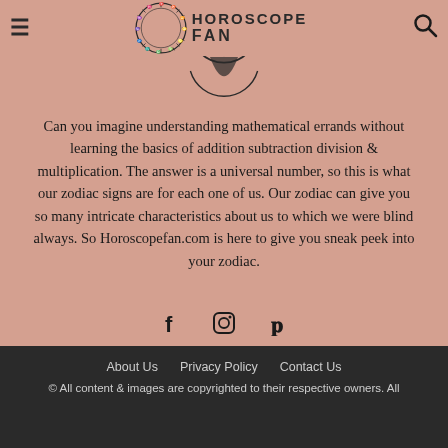HOROSCOPE FAN
[Figure (logo): Horoscope Fan circular zodiac wheel logo with crescent moon, partially visible below header]
Can you imagine understanding mathematical errands without learning the basics of addition subtraction division & multiplication. The answer is a universal number, so this is what our zodiac signs are for each one of us. Our zodiac can give you so many intricate characteristics about us to which we were blind always. So Horoscopefan.com is here to give you sneak peek into your zodiac.
[Figure (infographic): Social media icons row: Facebook (f), Instagram (camera square), Pinterest (p)]
About Us   Privacy Policy   Contact Us
© All content & images are copyrighted to their respective owners. All